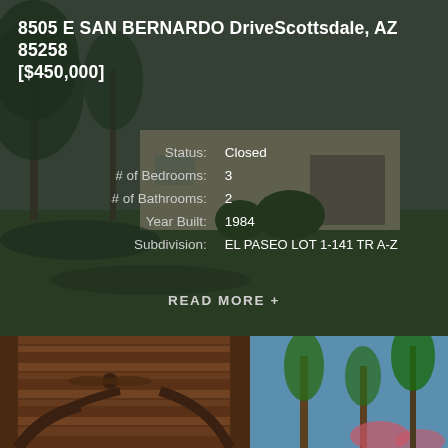[Figure (photo): Exterior photo of a single-story ranch-style house with trees and lawn, overlaid with a dark semi-transparent filter. Text content overlay shows property details.]
8505 E SAN BERNARDO DriveScottsdale, AZ 85258 [$450,000]
Status: Closed
# of Bedrooms: 3
# of Bathrooms: 2
Year Built: 1984
Subdivision: EL PASEO LOT 1-141 TR A-Z
READ MORE +
[Figure (photo): Interior/exterior view of a wooden pergola/patio cover with beam structure and ceiling fan, looking out to palm trees and blue sky.]